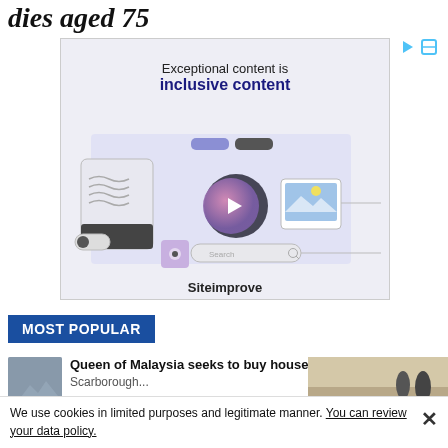dies aged 75
[Figure (illustration): Advertisement banner for Siteimprove featuring text 'Exceptional content is inclusive content' with an illustration of accessibility/content tools including a toggle, video player, image icon, and search bar on a light purple background.]
Siteimprove
MOST POPULAR
Queen of Malaysia seeks to buy house in
We use cookies in limited purposes and legitimate manner. You can review your data policy.